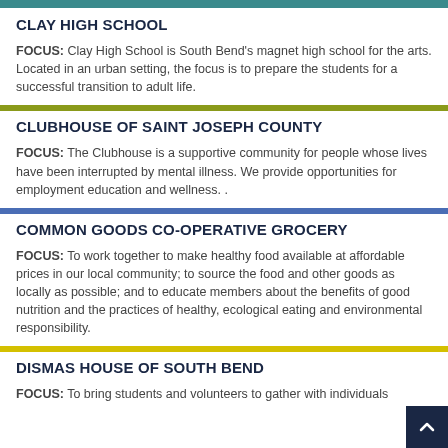CLAY HIGH SCHOOL
FOCUS: Clay High School is South Bend's magnet high school for the arts. Located in an urban setting, the focus is to prepare the students for a successful transition to adult life.
CLUBHOUSE OF SAINT JOSEPH COUNTY
FOCUS: The Clubhouse is a supportive community for people whose lives have been interrupted by mental illness. We provide opportunities for employment education and wellness. .
COMMON GOODS CO-OPERATIVE GROCERY
FOCUS: To work together to make healthy food available at affordable prices in our local community; to source the food and other goods as locally as possible; and to educate members about the benefits of good nutrition and the practices of healthy, ecological eating and environmental responsibility.
DISMAS HOUSE OF SOUTH BEND
FOCUS: To bring students and volunteers to gather with individuals...